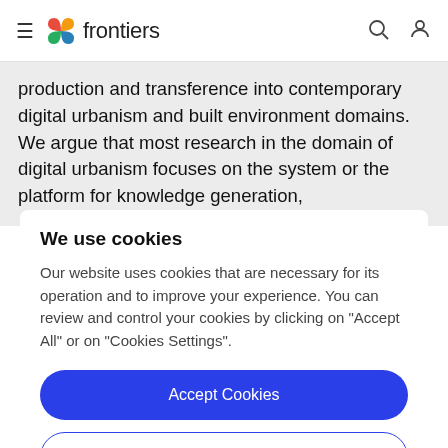frontiers
production and transference into contemporary digital urbanism and built environment domains. We argue that most research in the domain of digital urbanism focuses on the system or the platform for knowledge generation,
We use cookies
Our website uses cookies that are necessary for its operation and to improve your experience. You can review and control your cookies by clicking on "Accept All" or on "Cookies Settings".
Accept Cookies
Cookies Settings